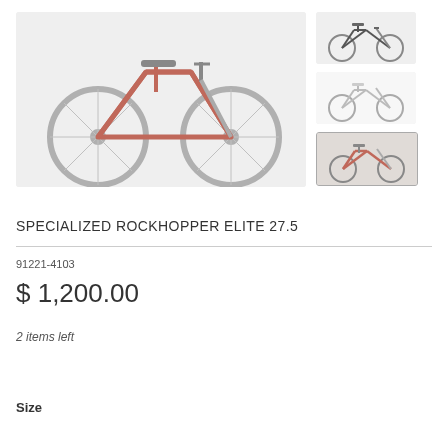[Figure (photo): Main product image of a red Specialized Rockhopper Elite 27.5 mountain bike, side profile view on a light gray background]
[Figure (photo): Small thumbnail: black/gray mountain bike side profile]
[Figure (photo): Small thumbnail: white/light mountain bike side profile]
[Figure (photo): Small thumbnail: red mountain bike side profile (selected/highlighted)]
SPECIALIZED ROCKHOPPER ELITE 27.5
91221-4103
$ 1,200.00
2 items left
Size